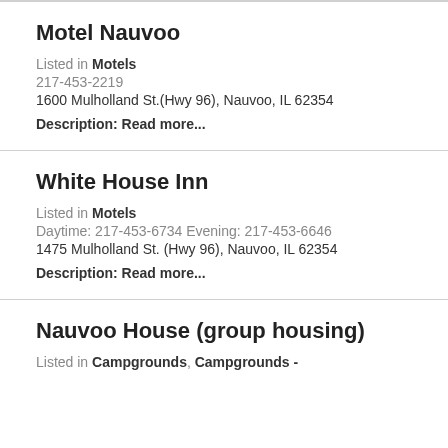Motel Nauvoo
Listed in Motels
217-453-2219
1600 Mulholland St.(Hwy 96), Nauvoo, IL 62354
Description: Read more...
White House Inn
Listed in Motels
Daytime: 217-453-6734 Evening: 217-453-6646
1475 Mulholland St. (Hwy 96), Nauvoo, IL 62354
Description: Read more...
Nauvoo House (group housing)
Listed in Campgrounds, Campgrounds -